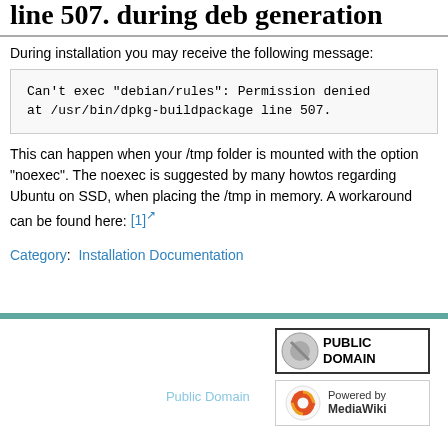line 507. during deb generation
During installation you may receive the following message:
Can't exec "debian/rules": Permission denied at /usr/bin/dpkg-buildpackage line 507.
This can happen when your /tmp folder is mounted with the option "noexec". The noexec is suggested by many howtos regarding Ubuntu on SSD, when placing the /tmp in memory. A workaround can be found here: [1]
Category:  Installation Documentation
This page was last edited on 30 January 2013, at 05:11. Content is available under Public Domain unless otherwise noted.